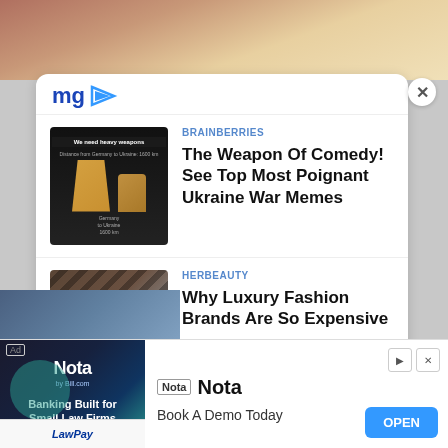[Figure (screenshot): Screenshot of a webpage with mgid content recommendation widget showing two article recommendations and a Nota banking advertisement]
mgid
BRAINBERRIES
The Weapon Of Comedy! See Top Most Poignant Ukraine War Memes
HERBEAUTY
Why Luxury Fashion Brands Are So Expensive
[Figure (screenshot): Ad banner for Nota banking built for small law firms. Book A Demo Today. OPEN button.]